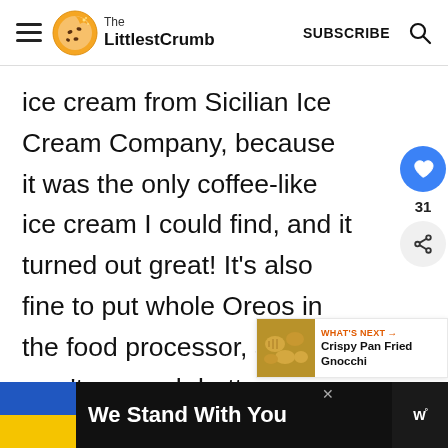The LittlestCrumb — SUBSCRIBE
ice cream from Sicilian Ice Cream Company, because it was the only coffee-like ice cream I could find, and it turned out great! It's also fine to put whole Oreos in the food processor, and you won't as much butter.
[Figure (other): Social sidebar with heart/like button showing 31 likes and a share button]
[Figure (other): What's Next widget showing Crispy Pan Fried Gnocchi with a thumbnail image]
[Figure (other): Advertisement banner: We Stand With You with Ukrainian flag colors on dark background]